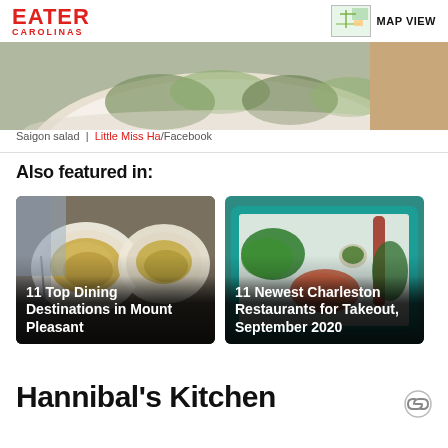EATER CAROLINAS | MAP VIEW
[Figure (photo): Top portion of a dish — Saigon salad, partial view of a white bowl with colorful salad greens]
Saigon salad  |  Little Miss Ha/Facebook
Also featured in:
[Figure (photo): Card image showing two white bowls of pasta with clams and greens on a white tablecloth, with text overlay '11 Top Dining Destinations in Mount Pleasant']
[Figure (photo): Card image showing a teal cafeteria tray with Vietnamese food items including shrimp, greens and sauces, with text overlay '11 Newest Charleston Restaurants for Takeout, September 2020']
Hannibal's Kitchen